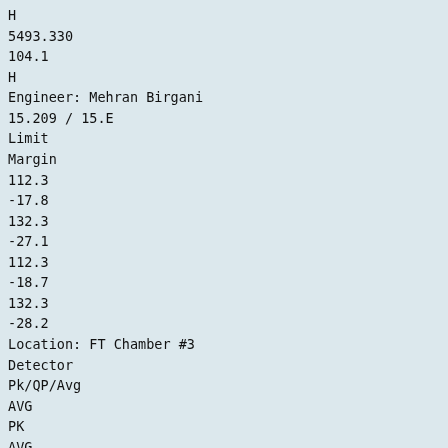H
5493.330
104.1
H
Engineer: Mehran Birgani
15.209 / 15.E
Limit
Margin
112.3
-17.8
132.3
-27.1
112.3
-18.7
132.3
-28.2
Location: FT Chamber #3
Detector
Pk/QP/Avg
AVG
PK
AVG
PK
Azimuth
degrees
60
60
151
151
Height
meters
1.4
1.4